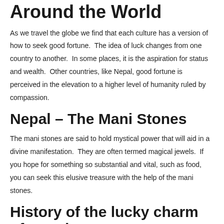Around the World
As we travel the globe we find that each culture has a version of how to seek good fortune.  The idea of luck changes from one country to another.  In some places, it is the aspiration for status and wealth.  Other countries, like Nepal, good fortune is perceived in the elevation to a higher level of humanity ruled by compassion.
Nepal – The Mani Stones
The mani stones are said to hold mystical power that will aid in a divine manifestation.  They are often termed magical jewels.  If you hope for something so substantial and vital, such as food, you can seek this elusive treasure with the help of the mani stones.
History of the lucky charm of Nepal
The mani stones emerged with the Buddhist faiths.  The stones